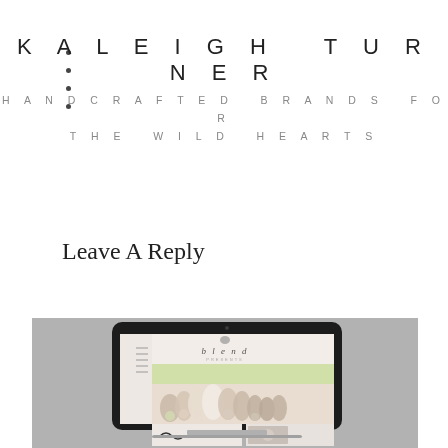KALEIGH TURNER · HANDCRAFTED BRANDS FOR THE WILD HEARTS
Leave A Reply
[Figure (screenshot): A laptop mockup on a gray background showing the 'blend' website with a photo of bridesmaids in pink dresses holding bouquets, displayed within the laptop screen.]